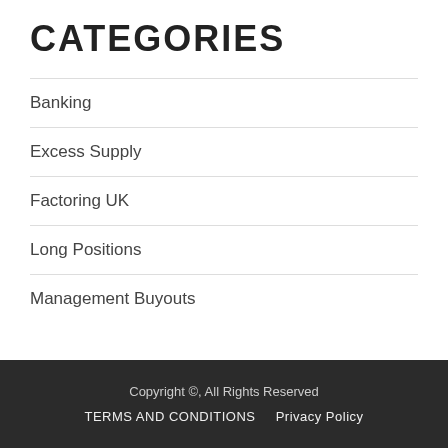CATEGORIES
Banking
Excess Supply
Factoring UK
Long Positions
Management Buyouts
Copyright ©, All Rights Reserved   TERMS AND CONDITIONS   Privacy Policy